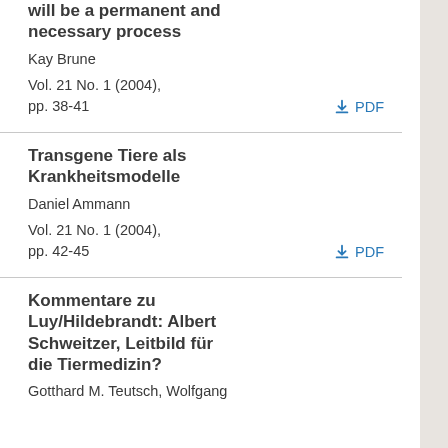will be a permanent and necessary process
Kay Brune
Vol. 21 No. 1 (2004), pp. 38-41
Transgene Tiere als Krankheitsmodelle
Daniel Ammann
Vol. 21 No. 1 (2004), pp. 42-45
Kommentare zu Luy/Hildebrandt: Albert Schweitzer, Leitbild für die Tiermedizin?
Gotthard M. Teutsch, Wolfgang